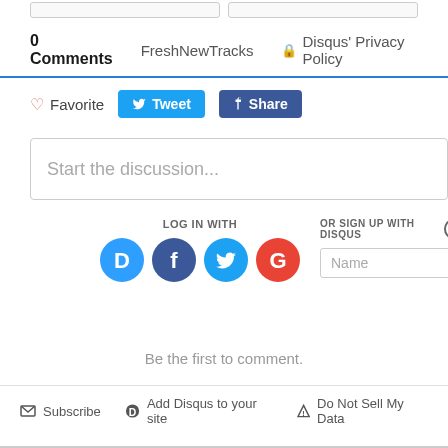0 Comments   FreshNewTracks   🔒 Disqus' Privacy Policy
♡ Favorite   Tweet   Share
Start the discussion...
LOG IN WITH
OR SIGN UP WITH DISQUS ?
Name
Be the first to comment.
✉ Subscribe   Add Disqus to your site   ▲ Do Not Sell My Data